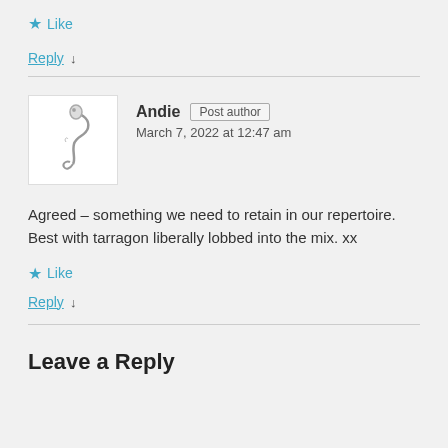★ Like
Reply ↓
[Figure (illustration): Avatar image with a decorative snake/seahorse logo on white background]
Andie Post author
March 7, 2022 at 12:47 am
Agreed – something we need to retain in our repertoire. Best with tarragon liberally lobbed into the mix. xx
★ Like
Reply ↓
Leave a Reply